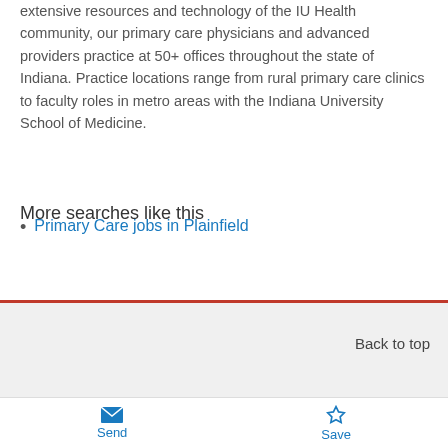extensive resources and technology of the IU Health community, our primary care physicians and advanced providers practice at 50+ offices throughout the state of Indiana. Practice locations range from rural primary care clinics to faculty roles in metro areas with the Indiana University School of Medicine.
More searches like this
Primary Care jobs in Plainfield
Back to top
About Us
Send  Save